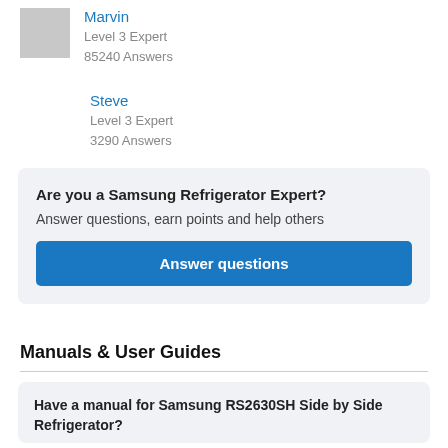[Figure (photo): Gray placeholder avatar image for Marvin expert]
Marvin
Level 3 Expert
85240 Answers
Steve
Level 3 Expert
3290 Answers
Are you a Samsung Refrigerator Expert?
Answer questions, earn points and help others
Answer questions
Manuals & User Guides
Have a manual for Samsung RS2630SH Side by Side Refrigerator?